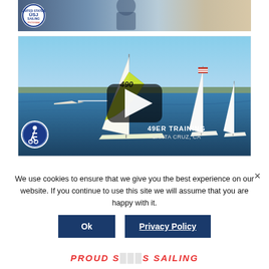[Figure (photo): Top strip photo showing sailing-related scene with USJ Sailing Program badge/logo in upper left corner]
[Figure (screenshot): Video thumbnail of sailing boats racing on water near Santa Cruz, CA. Shows 49er-class sailboats with colorful spinnakers. A play button overlay is visible in center. Text overlay reads '49ER TRAINING / SANTA CRUZ, CA'. Accessibility icon in lower left corner.]
We use cookies to ensure that we give you the best experience on our website. If you continue to use this site we will assume that you are happy with it.
Ok
Privacy Policy
PROUD S[PONSOR OF U]S SAILING